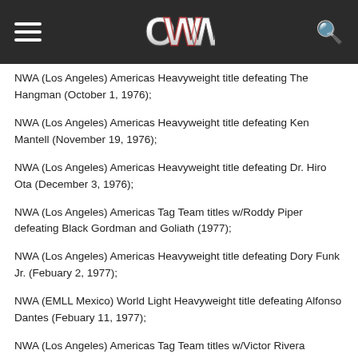OWW
NWA (Los Angeles) Americas Heavyweight title defeating The Hangman (October 1, 1976);
NWA (Los Angeles) Americas Heavyweight title defeating Ken Mantell (November 19, 1976);
NWA (Los Angeles) Americas Heavyweight title defeating Dr. Hiro Ota (December 3, 1976);
NWA (Los Angeles) Americas Tag Team titles w/Roddy Piper defeating Black Gordman and Goliath (1977);
NWA (Los Angeles) Americas Heavyweight title defeating Dory Funk Jr. (Febuary 2, 1977);
NWA (EMLL Mexico) World Light Heavyweight title defeating Alfonso Dantes (Febuary 11, 1977);
NWA (Los Angeles) Americas Tag Team titles w/Victor Rivera defeating Black Gordman and Goliath (March 18, 1977);